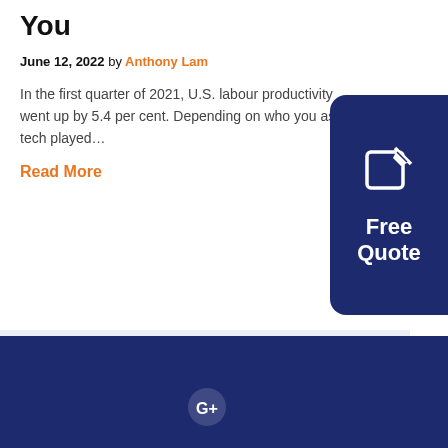You
June 12, 2022 by Anthony Lam
In the first quarter of 2021, U.S. labour productivity went up by 5.4 per cent. Depending on who you ask, tech played…
Read More
[Figure (illustration): Free Quote button with edit/pencil icon, dark navy blue rounded rectangle on right side]
G+